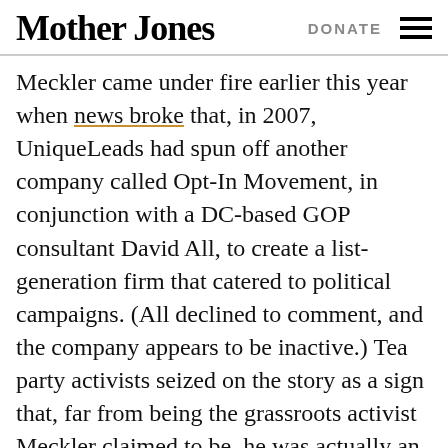Mother Jones | DONATE
Meckler came under fire earlier this year when news broke that, in 2007, UniqueLeads had spun off another company called Opt-In Movement, in conjunction with a DC-based GOP consultant David All, to create a list-generation firm that catered to political campaigns. (All declined to comment, and the company appears to be inactive.) Tea party activists seized on the story as a sign that, far from being the grassroots activist Meckler claimed to be, he was actually an aspiring GOP consultant. Concerns over Meckler's intentions have also surrounded a $1 million anonymous donation recently received by the Patriots, which the group is divvying up via grants to its local